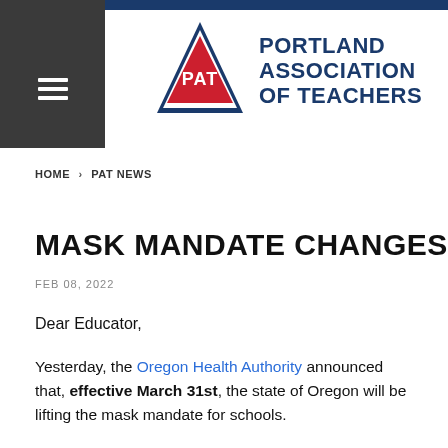[Figure (logo): Portland Association of Teachers (PAT) logo — blue triangle outline with red triangle inside bearing white text PAT, alongside bold blue text PORTLAND ASSOCIATION OF TEACHERS]
HOME > PAT NEWS
MASK MANDATE CHANGES
FEB 08, 2022
Dear Educator,
Yesterday, the Oregon Health Authority announced that, effective March 31st, the state of Oregon will be lifting the mask mandate for schools.